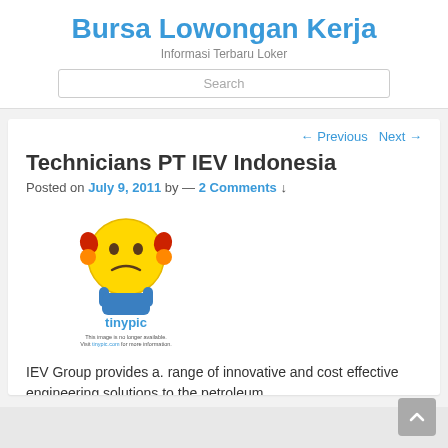Bursa Lowongan Kerja
Informasi Terbaru Loker
Search
← Previous   Next →
Technicians PT IEV Indonesia
Posted on July 9, 2011 by — 2 Comments ↓
[Figure (illustration): Tinypic broken image placeholder showing a cartoon sad face emoji holding its head, with text 'This image is no longer available. Visit tinypic.com for more information.']
IEV Group provides a. range of innovative and cost effective engineering solutions to the petroleum